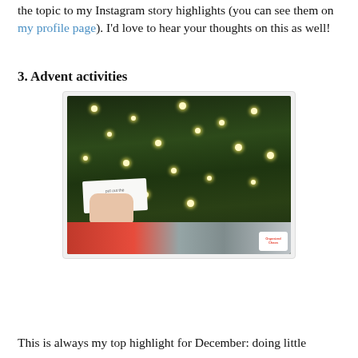the topic to my Instagram story highlights (you can see them on my profile page). I'd love to hear your thoughts on this as well!
3. Advent activities
[Figure (photo): A hand holding a small white card with handwritten text in front of a decorated Christmas tree with lights. At the bottom, wrapped gifts are visible. A small watermark logo is in the bottom right corner.]
This is always my top highlight for December: doing little